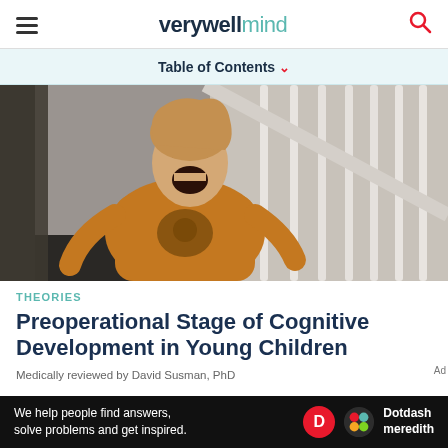verywell mind
Table of Contents
[Figure (photo): A young child with mouth wide open, wearing an orange/yellow hoodie with a character on it, photographed from below near a staircase with white balusters]
THEORIES
Preoperational Stage of Cognitive Development in Young Children
Medically reviewed by David Susman, PhD
We help people find answers, solve problems and get inspired. Dotdash meredith